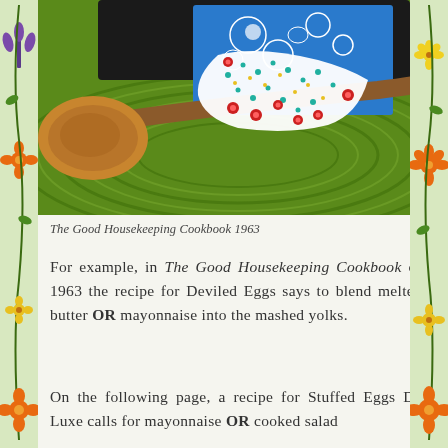[Figure (photo): A wooden ladle/spoon resting on a green woven placemat, with a colorful floral fabric oven mitt draped over the spoon handle. A blue cookbook with white illustrations is visible in the background.]
The Good Housekeeping Cookbook 1963
For example, in The Good Housekeeping Cookbook of 1963 the recipe for Deviled Eggs says to blend melted butter OR mayonnaise into the mashed yolks.
On the following page, a recipe for Stuffed Eggs De Luxe calls for mayonnaise OR cooked salad